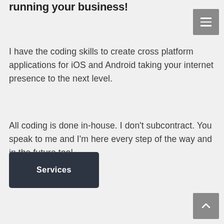running your business!
I have the coding skills to create cross platform applications for iOS and Android taking your internet presence to the next level.
All coding is done in-house. I don't subcontract. You speak to me and I'm here every step of the way and in the future too!
Services